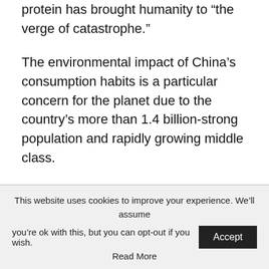protein has brought humanity to “the verge of catastrophe.”
The environmental impact of China’s consumption habits is a particular concern for the planet due to the country’s more than 1.4 billion-strong population and rapidly growing middle class.
Five-fold increase in meat consumption
This website uses cookies to improve your experience. We’ll assume you’re ok with this, but you can opt-out if you wish. Accept Read More